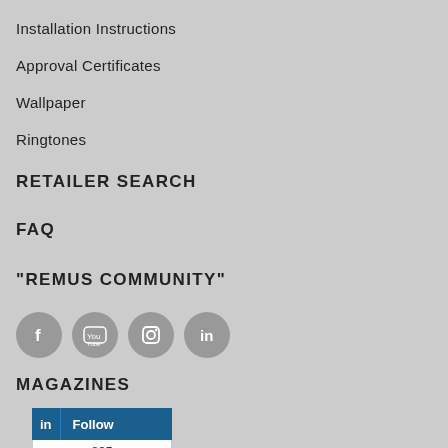Installation Instructions
Approval Certificates
Wallpaper
Ringtones
RETAILER SEARCH
FAQ
"REMUS COMMUNITY"
[Figure (other): Social media icon buttons: Facebook, YouTube, Instagram, LinkedIn]
MAGAZINES
[Figure (other): LinkedIn Follow button widget showing 865 followers]